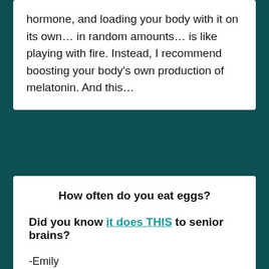hormone, and loading your body with it on its own… in random amounts… is like playing with fire. Instead, I recommend boosting your body's own production of melatonin. And this…
How often do you eat eggs?
Did you know it does THIS to senior brains?
-Emily